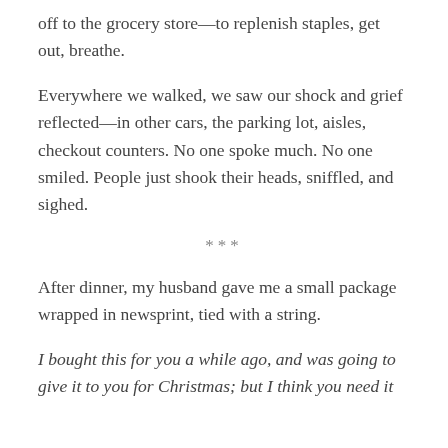off to the grocery store—to replenish staples, get out, breathe.
Everywhere we walked, we saw our shock and grief reflected—in other cars, the parking lot, aisles, checkout counters. No one spoke much. No one smiled. People just shook their heads, sniffled, and sighed.
***
After dinner, my husband gave me a small package wrapped in newsprint, tied with a string.
I bought this for you a while ago, and was going to give it to you for Christmas; but I think you need it